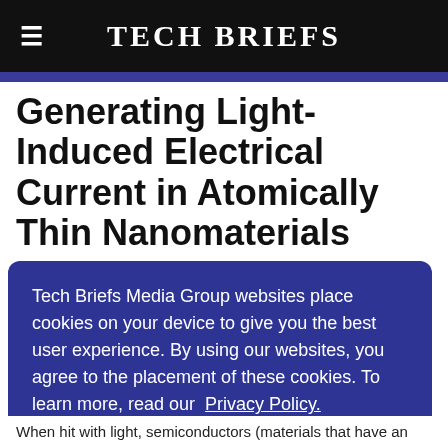Tech Briefs
Generating Light-Induced Electrical Current in Atomically Thin Nanomaterials
Tech Briefs Media Group websites place cookies on your device to give you the best user experience. By using our websites, you agree to the placement of these cookies. To learn more, read our Privacy Policy.
Accept & Continue
When hit with light, semiconductors (materials that have an